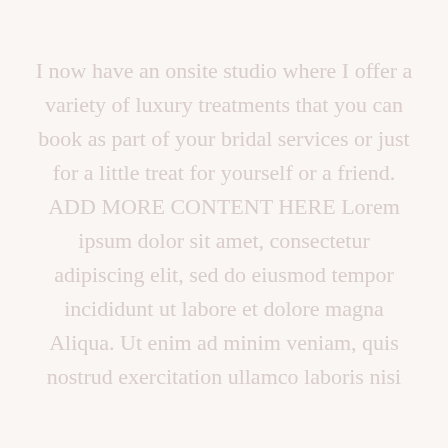I now have an onsite studio where I offer a variety of luxury treatments that you can book as part of your bridal services or just for a little treat for yourself or a friend. ADD MORE CONTENT HERE Lorem ipsum dolor sit amet, consectetur adipiscing elit, sed do eiusmod tempor incididunt ut labore et dolore magna Aliqua. Ut enim ad minim veniam, quis nostrud exercitation ullamco laboris nisi